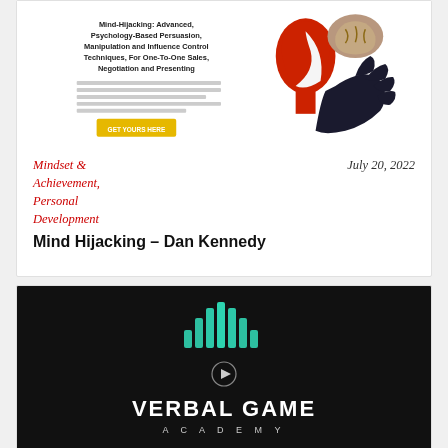[Figure (illustration): Book cover for Mind-Hijacking: Advanced, Psychology-Based Persuasion, Manipulation and Influence Control Techniques, For One-To-One Sales, Negotiation and Presenting by Dan Kennedy — shows a red profile face silhouette with a brain icon and a dark hand, plus a yellow GET YOURS HERE button]
Mindset & Achievement, Personal Development
July 20, 2022
Mind Hijacking – Dan Kennedy
[Figure (logo): Verbal Game Academy logo — dark background with teal vertical bar equalizer graphic above a play button icon, large white bold text VERBAL GAME and smaller spaced-out text ACADEMY below]